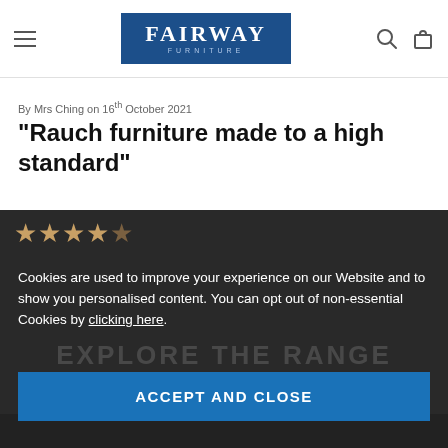FAIRWAY FURNITURE
By Mrs Ching on 16th October 2021
"Rauch furniture made to a high standard"
[Figure (other): Four gold/yellow star rating icons]
Cookies are used to improve your experience on our Website and to show you personalised content. You can opt out of non-essential Cookies by clicking here.
ACCEPT AND CLOSE
[Figure (photo): Dark background with faint 'EXPLORE THE RANGE' text and furniture image at bottom]